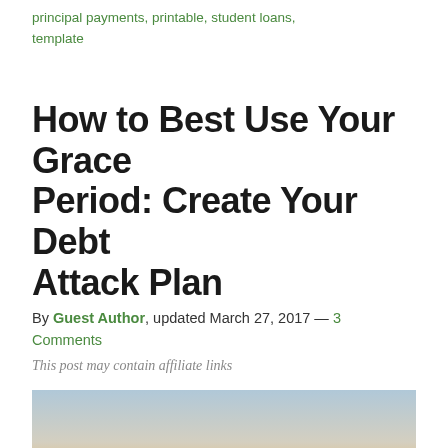principal payments, printable, student loans, template
How to Best Use Your Grace Period: Create Your Debt Attack Plan
By Guest Author, updated March 27, 2017 — 3 Comments
This post may contain affiliate links
[Figure (photo): Silhouette of a person looking down against a sunset sky with city skyline in background]